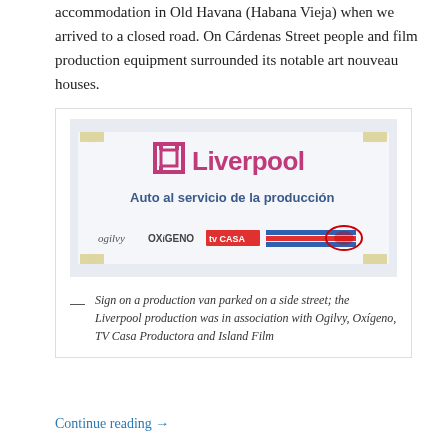accommodation in Old Havana (Habana Vieja) when we arrived to a closed road. On Cárdenas Street people and film production equipment surrounded its notable art nouveau houses.
[Figure (photo): A paper sign taped to a vehicle window. The sign shows the Liverpool logo (stylized pink 'Liverpool' text with a geometric icon), the text 'Auto al servicio de la producción', and logos for Ogilvy, Oxígeno, TV Casa Productora, and Island Film.]
Sign on a production van parked on a side street; the Liverpool production was in association with Ogilvy, Oxígeno, TV Casa Productora and Island Film
Continue reading →